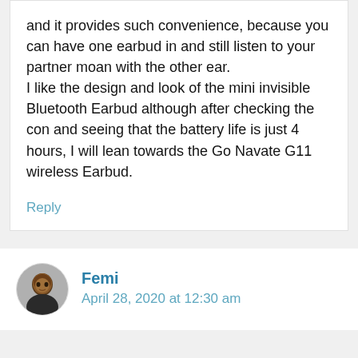and it provides such convenience, because you can have one earbud in and still listen to your partner moan with the other ear.
I like the design and look of the mini invisible Bluetooth Earbud although after checking the con and seeing that the battery life is just 4 hours, I will lean towards the Go Navate G11 wireless Earbud.
Reply
Femi
April 28, 2020 at 12:30 am